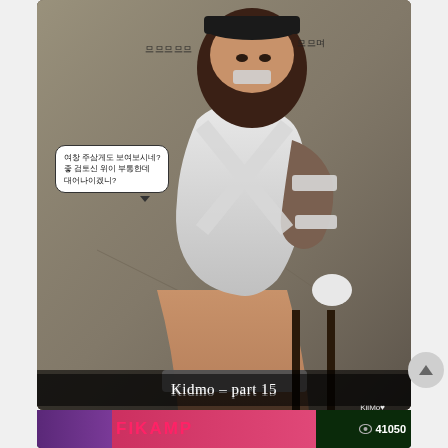[Figure (illustration): Digital illustration (comic/manga style) of a female character bound with tape, sitting against a wall, wearing a cap. Korean text speech bubble and sound effect text visible. Caption reads 'Kidmo - part 15' with artist watermark 'KiiMo'.]
Kidmo - part 15
[Figure (illustration): Partial view of another illustration at the bottom of the page showing a character with colorful background and text overlay showing view count 41050.]